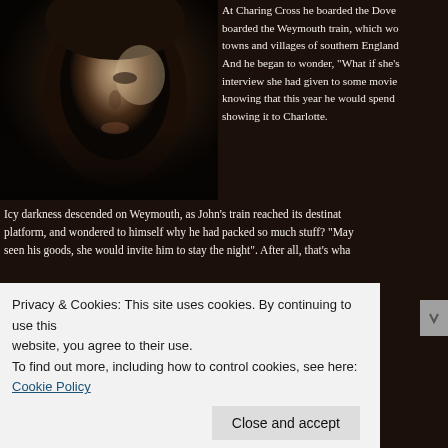[Figure (photo): Black and white close-up photo of a woman's face, partially lit, looking downward]
At Charing Cross he boarded the Dove... boarded the Weymouth train, which wo... towns and villages of southern England... And he began to wonder, "What if she's... interview she had given to some movie... knowing that this year he would spend showing it to Charlotte.
Icy darkness descended on Weymouth, as John's train reached its destinat... platform, and wondered to himself why he had packed so much stuff? "May... seen his goods, she would invite him to stay the night". After all, that's wha...
The cab ride from Weymouth to Lyme Regis took about thirty minutes. Not ... asked the driver to take him to the best Hotel. The desk clerk at The Royal L... The Mariner Hotel, just down the Street. The Mariner was booked solid for t... Orchard Country, The Kersbrook, and The Dower House. The irony of "no r... our hero as he continued his search for a place to stay. Finally he gave the ... few pounds to watch his bags, sat down to a nice cup of tea and contempla...
Privacy & Cookies: This site uses cookies. By continuing to use this website, you agree to their use.
To find out more, including how to control cookies, see here: Cookie Policy
Close and accept